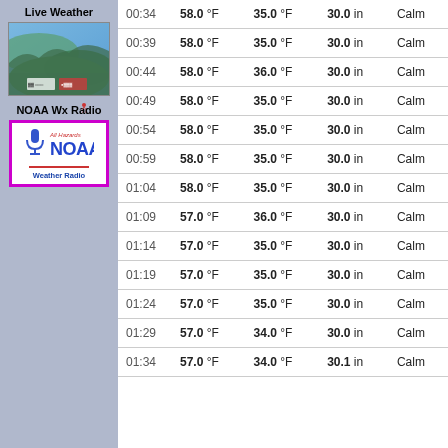Live Weather
[Figure (map): Satellite/terrain map thumbnail showing mountainous region]
NOAA Wx Radio
[Figure (logo): NOAA All Hazards Weather Radio logo with microphone icon]
| Time | Temp | Dew Point | Pressure | Wind |
| --- | --- | --- | --- | --- |
| 00:34 | 58.0 °F | 35.0 °F | 30.0 in | Calm |
| 00:39 | 58.0 °F | 35.0 °F | 30.0 in | Calm |
| 00:44 | 58.0 °F | 36.0 °F | 30.0 in | Calm |
| 00:49 | 58.0 °F | 35.0 °F | 30.0 in | Calm |
| 00:54 | 58.0 °F | 35.0 °F | 30.0 in | Calm |
| 00:59 | 58.0 °F | 35.0 °F | 30.0 in | Calm |
| 01:04 | 58.0 °F | 35.0 °F | 30.0 in | Calm |
| 01:09 | 57.0 °F | 36.0 °F | 30.0 in | Calm |
| 01:14 | 57.0 °F | 35.0 °F | 30.0 in | Calm |
| 01:19 | 57.0 °F | 35.0 °F | 30.0 in | Calm |
| 01:24 | 57.0 °F | 35.0 °F | 30.0 in | Calm |
| 01:29 | 57.0 °F | 34.0 °F | 30.0 in | Calm |
| 01:34 | 57.0 °F | 34.0 °F | 30.1 in | Calm |